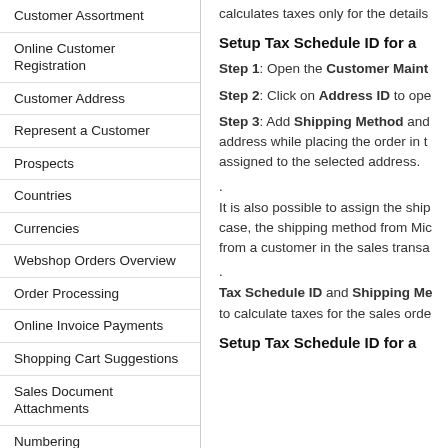Customer Assortment
Online Customer Registration
Customer Address
Represent a Customer
Prospects
Countries
Currencies
Webshop Orders Overview
Order Processing
Online Invoice Payments
Shopping Cart Suggestions
Sales Document Attachments
Numbering
Tax Setup
Edit an Order
Sales Order Data
calculates taxes only for the details
Setup Tax Schedule ID for a
Step 1: Open the Customer Maint
Step 2: Click on Address ID to ope
Step 3: Add Shipping Method and address while placing the order in t assigned to the selected address.
.
It is also possible to assign the shi case, the shipping method from Mi from a customer in the sales transa
.
Tax Schedule ID and Shipping Me to calculate taxes for the sales orde
Setup Tax Schedule ID for a